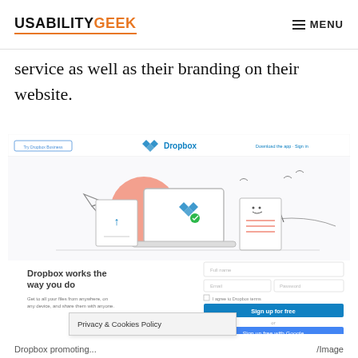USABILITYGEEK  MENU
service as well as their branding on their website.
[Figure (screenshot): Screenshot of the Dropbox homepage showing the Dropbox logo navigation bar, an illustration of the Dropbox open box with a laptop, paper airplane and documents, and a signup form with fields for Full name, Email, Password, a 'Sign up for free' button, and a 'Sign up free with Google' button.]
Privacy & Cookies Policy
Dropbox promoting...  /Image